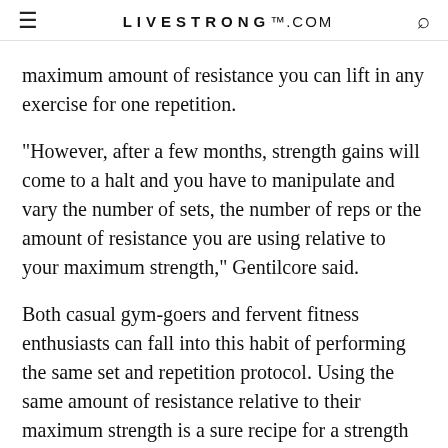LIVESTRONG.COM
maximum amount of resistance you can lift in any exercise for one repetition.
"However, after a few months, strength gains will come to a halt and you have to manipulate and vary the number of sets, the number of reps or the amount of resistance you are using relative to your maximum strength," Gentilcore said.
Both casual gym-goers and fervent fitness enthusiasts can fall into this habit of performing the same set and repetition protocol. Using the same amount of resistance relative to their maximum strength is a sure recipe for a strength plateau after a few months, according to BodyBuilding.com.